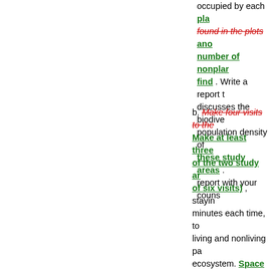occupied by each plant found in the plots and number of nonplant find . Write a report that discusses the biodiversity and population density of these study areas . Share your report with your counselor. b. Make four visits to the ... Make at least three visits to each of the two study areas (for a total of six visits) , staying at least 20 minutes each time, to observe the living and nonliving parts of the ecosystem. Space each visit far enough apart that there are readily apparent differences between the observations. Keep notes of your observations, including a discussion of differences among the four visits. Write a report of your observations and discussion that includes the differences you observe. Then, write...